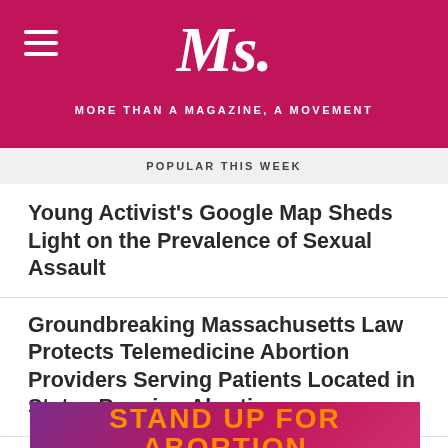Ms. — MORE THAN A MAGAZINE, A MOVEMENT
POPULAR THIS WEEK
Young Activist's Google Map Sheds Light on the Prevalence of Sexual Assault
Groundbreaking Massachusetts Law Protects Telemedicine Abortion Providers Serving Patients Located in States Banning Abortion
What We Must Learn From Latin America in a Post-Roe World
[Figure (infographic): Banner reading STAND UP FOR ABORTION in orange text on a purple-to-pink gradient background]